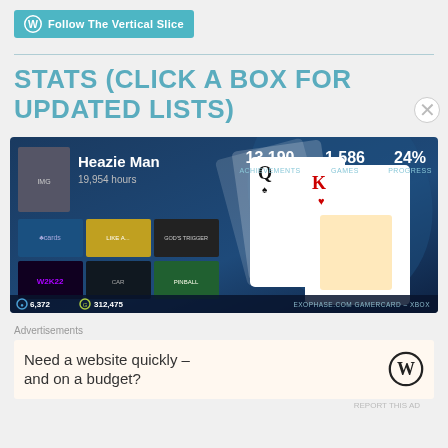Follow The Vertical Slice
STATS (CLICK A BOX FOR UPDATED LISTS)
[Figure (screenshot): Xbox gamercard for Heazie Man showing 13,190 achievements, 1,586 games, 24% progress, 19,954 hours, 6,372 points, 312,475 score. Shows recent game thumbnails and playing card graphics. Footer reads EXOPHASE.COM GAMERCARD - XBOX]
Advertisements
Need a website quickly – and on a budget?